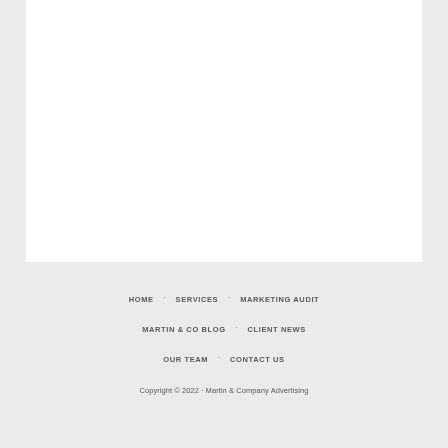[Figure (other): White rectangular content area occupying the upper portion of the page]
HOME
SERVICES
MARKETING AUDIT
MARTIN & CO BLOG
CLIENT NEWS
OUR TEAM
CONTACT US
Copyright © 2022 · Martin & Company Advertising